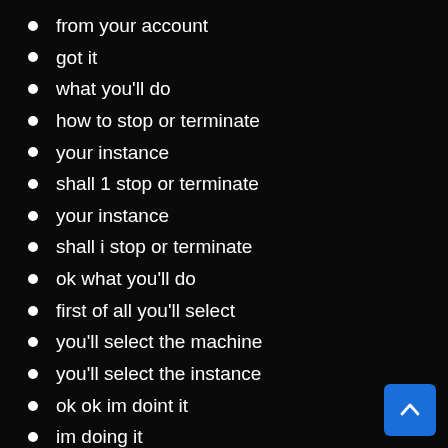from your account
got it
what you'll do
how to stop or terminate
your instance
shall 1 stop or terminate
your instance
shall i stop or terminate
ok what you'll do
first of all you'll select
you'll select the machine
you'll select the instance
ok ok im doint it
im doing it
you just go there
you select the machine
you select the instance go to actions